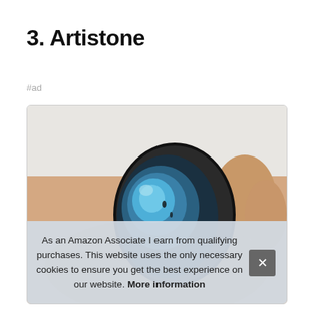3. Artistone
#ad
[Figure (photo): Photo of a hand holding a labradorite palm stone with blue iridescent flash, displayed inside a bordered card element.]
As an Amazon Associate I earn from qualifying purchases. This website uses the only necessary cookies to ensure you get the best experience on our website. More information